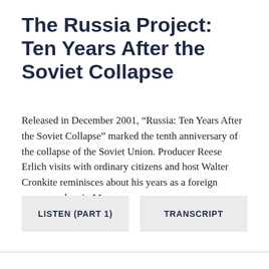The Russia Project: Ten Years After the Soviet Collapse
Released in December 2001, “Russia: Ten Years After the Soviet Collapse” marked the tenth anniversary of the collapse of the Soviet Union. Producer Reese Erlich visits with ordinary citizens and host Walter Cronkite reminisces about his years as a foreign correspondent in Moscow.
LISTEN (PART 1)
TRANSCRIPT